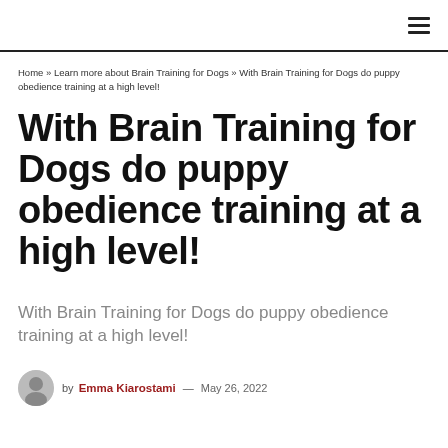≡
Home » Learn more about Brain Training for Dogs » With Brain Training for Dogs do puppy obedience training at a high level!
With Brain Training for Dogs do puppy obedience training at a high level!
With Brain Training for Dogs do puppy obedience training at a high level!
by Emma Kiarostami — May 26, 2022